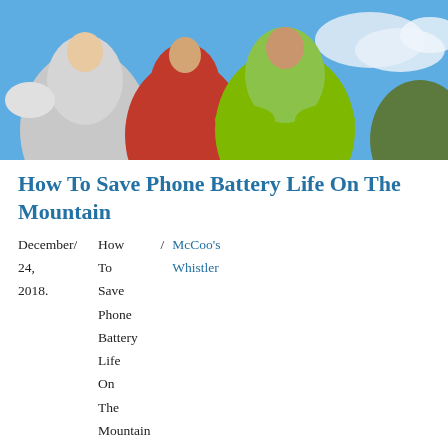[Figure (photo): Three people in colorful athletic/ski jackets (white, red, lime green) against a blue sky with clouds, viewed from the torso up.]
How To Save Phone Battery Life On The Mountain
December/ 24, 2018.    How To Save Phone Battery Life On The Mountain    /    McCoo's Whistler
We've all been there. Your phone dies just when you need